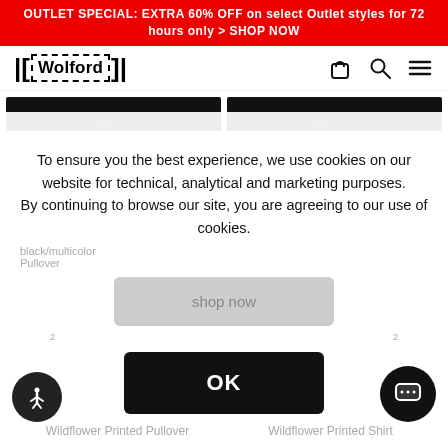OUTLET SPECIAL: EXTRA 60% OFF on select Outlet styles for 72 hours only > SHOP NOW
[Figure (logo): Wolford brand logo with double bracket and dashed border style]
[Figure (screenshot): Two product image blocks (dark/black) partially visible at top of page]
1
Wildflower Printed Dress
black/multicolor
To ensure you the best experience, we use cookies on our website for technical, analytical and marketing purposes. By continuing to browse our site, you are agreeing to our use of cookies.
shop now
OK
Wildflower Printed Pullover
Wildflower Printed Shirt